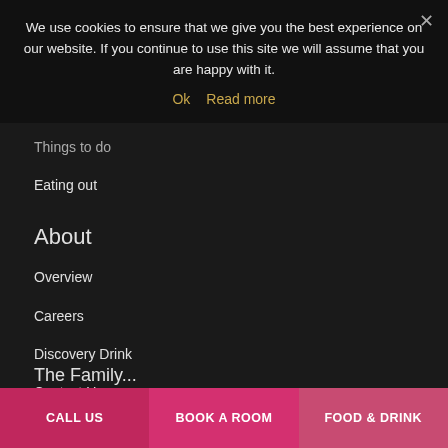We use cookies to ensure that we give you the best experience on our website. If you continue to use this site we will assume that you are happy with it.
Ok   Read more
Things to do
Eating out
About
Overview
Careers
Discovery Drink
Contact Us
Privacy Policy
Terms & Conditions
The Family...
CALL US
BOOK A ROOM
FOOD & DRINK